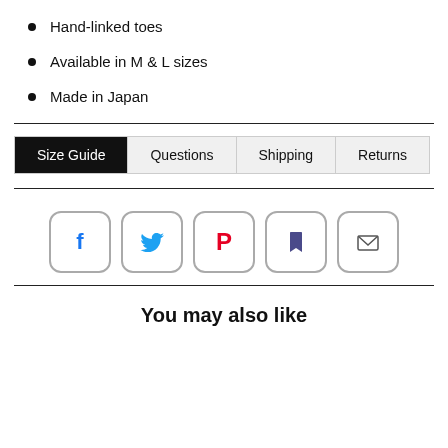Hand-linked toes
Available in M & L sizes
Made in Japan
Size Guide | Questions | Shipping | Returns
[Figure (other): Social sharing buttons: Facebook, Twitter, Pinterest, Bookmark/Save, Email]
You may also like